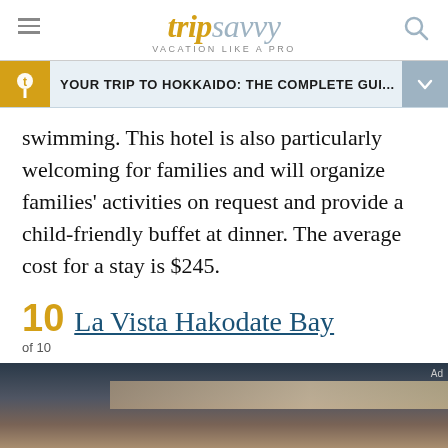tripsavvy — VACATION LIKE A PRO
YOUR TRIP TO HOKKAIDO: THE COMPLETE GUI...
swimming. This hotel is also particularly welcoming for families and will organize families' activities on request and provide a child-friendly buffet at dinner. The average cost for a stay is $245.
10  La Vista Hakodate Bay
of 10
[Figure (photo): Dark photo of La Vista Hakodate Bay hotel]
We help people find answers, solve problems and get inspired. Dotdash meredith